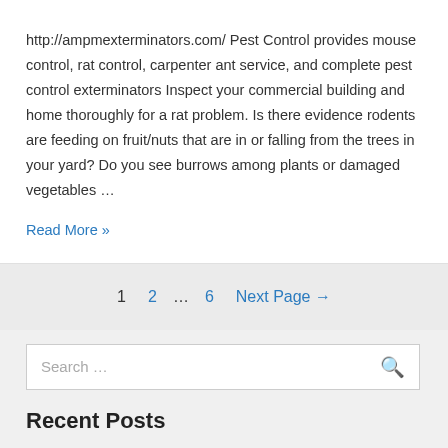http://ampmexterminators.com/ Pest Control provides mouse control, rat control, carpenter ant service, and complete pest control exterminators Inspect your commercial building and home thoroughly for a rat problem. Is there evidence rodents are feeding on fruit/nuts that are in or falling from the trees in your yard? Do you see burrows among plants or damaged vegetables …
Read More »
1  2  …  6  Next Page →
Search …
Recent Posts